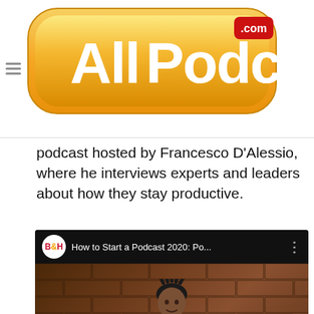[Figure (logo): AllPodcasts.com logo — gold rounded pill shape with white text 'All Podcasts' and red '.com' badge]
podcast hosted by Francesco D'Alessio, where he interviews experts and leaders about how they stay productive.
[Figure (screenshot): YouTube video thumbnail showing 'How to Start a Podcast 2020: Po...' with B&H logo, a man seated in front of a brick wall, and text 'PODCASTING BEGINNERS' with a YouTube play button overlay]